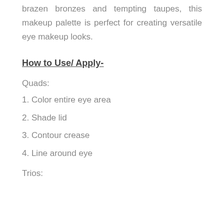brazen bronzes and tempting taupes, this makeup palette is perfect for creating versatile eye makeup looks.
How to Use/ Apply-
Quads:
1. Color entire eye area
2. Shade lid
3. Contour crease
4. Line around eye
Trios: